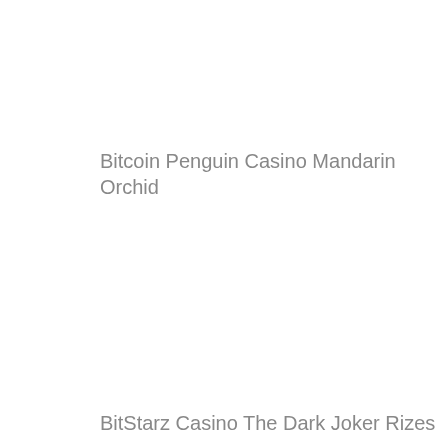Bitcoin Penguin Casino Mandarin Orchid
BitStarz Casino The Dark Joker Rizes
BitcoinCasino.us Cherry Bomb Deluxe
BitStarz Casino Winter Wonderland